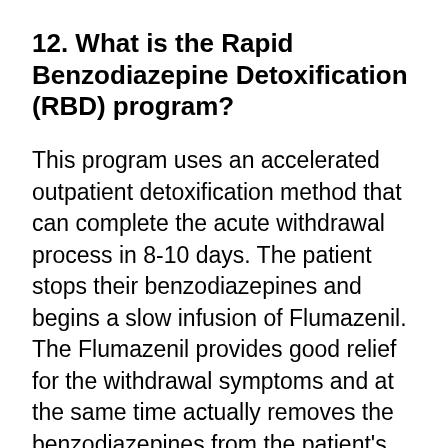12. What is the Rapid Benzodiazepine Detoxification (RBD) program?
This program uses an accelerated outpatient detoxification method that can complete the acute withdrawal process in 8-10 days. The patient stops their benzodiazepines and begins a slow infusion of Flumazenil. The Flumazenil provides good relief for the withdrawal symptoms and at the same time actually removes the benzodiazepines from the patient's body. All patients must have a